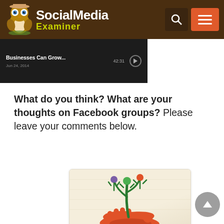Social Media Examiner
[Figure (screenshot): Dark background strip showing a podcast/video entry with text 'Businesses Can Grow...' and a date, partially visible]
What do you think? What are your thoughts on Facebook groups? Please leave your comments below.
[Figure (illustration): Facebook Groups illustration showing hands holding a plant with figures, and orange text reading 'Facebook Groups:']